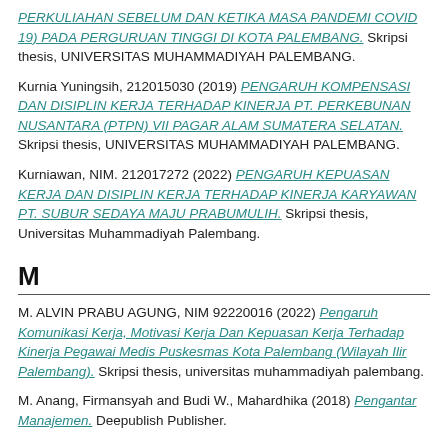PERKULIAHAN SEBELUM DAN KETIKA MASA PANDEMI COVID 19) PADA PERGURUAN TINGGI DI KOTA PALEMBANG. Skripsi thesis, UNIVERSITAS MUHAMMADIYAH PALEMBANG.
Kurnia Yuningsih, 212015030 (2019) PENGARUH KOMPENSASI DAN DISIPLIN KERJA TERHADAP KINERJA PT. PERKEBUNAN NUSANTARA (PTPN) VII PAGAR ALAM SUMATERA SELATAN. Skripsi thesis, UNIVERSITAS MUHAMMADIYAH PALEMBANG.
Kurniawan, NIM. 212017272 (2022) PENGARUH KEPUASAN KERJA DAN DISIPLIN KERJA TERHADAP KINERJA KARYAWAN PT. SUBUR SEDAYA MAJU PRABUMULIH. Skripsi thesis, Universitas Muhammadiyah Palembang.
M
M. ALVIN PRABU AGUNG, NIM 92220016 (2022) Pengaruh Komunikasi Kerja, Motivasi Kerja Dan Kepuasan Kerja Terhadap Kinerja Pegawai Medis Puskesmas Kota Palembang (Wilayah Ilir Palembang). Skripsi thesis, universitas muhammadiyah palembang.
M. Anang, Firmansyah and Budi W., Mahardhika (2018) Pengantar Manajemen. Deepublish Publisher.